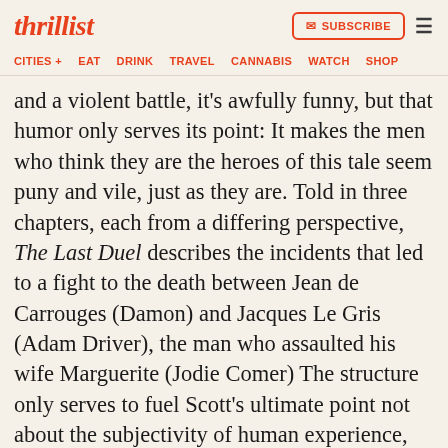thrillist
SUBSCRIBE
CITIES + | EAT | DRINK | TRAVEL | CANNABIS | WATCH | SHOP
and a violent battle, it's awfully funny, but that humor only serves its point: It makes the men who think they are the heroes of this tale seem puny and vile, just as they are. Told in three chapters, each from a differing perspective, The Last Duel describes the incidents that led to a fight to the death between Jean de Carrouges (Damon) and Jacques Le Gris (Adam Driver), the man who assaulted his wife Marguerite (Jodie Comer) The structure only serves to fuel Scott's ultimate point not about the subjectivity of human experience, but the brutality of the circumstances. Anchored by great performance all around, it's Affleck who steals